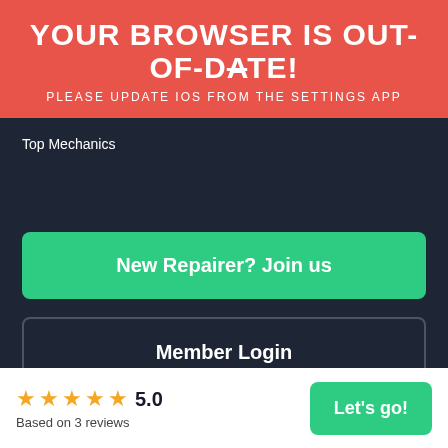YOUR BROWSER IS OUT-OF-DATE!
PLEASE UPDATE IOS FROM THE SETTINGS APP
Top Mechanics
New Repairer? Join us
Member Login
AutoGuru acknowledges and pays respects to the people
★★★★★ 5.0 Based on 3 reviews
Let's go!